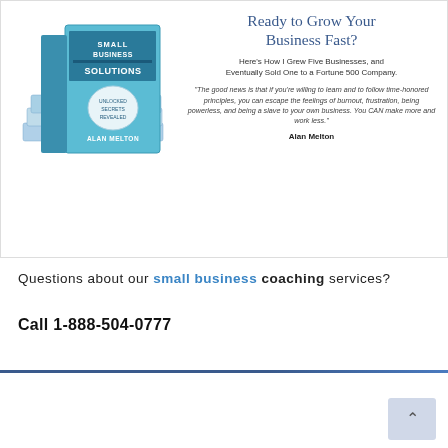[Figure (photo): Stack of 'Small Business Solutions' books by Alan Melton, cover in blue/teal color]
Ready to Grow Your Business Fast?
Here's How I Grew Five Businesses, and Eventually Sold One to a Fortune 500 Company.
"The good news is that if you're willing to learn and to follow time-honored principles, you can escape the feelings of burnout, frustration, being powerless, and being a slave to your own business. You CAN make more and work less."
Alan Melton
Questions about our small business coaching services?
Call 1-888-504-0777
[Figure (logo): Small Business Coach Associates logo with circular icon showing bar chart and hands, and bold blue text]